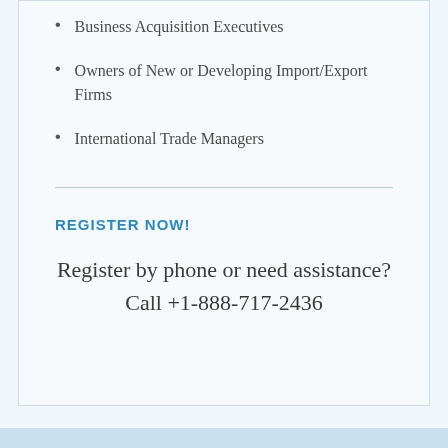Business Acquisition Executives
Owners of New or Developing Import/Export Firms
International Trade Managers
REGISTER NOW!
Register by phone or need assistance?
Call +1-888-717-2436